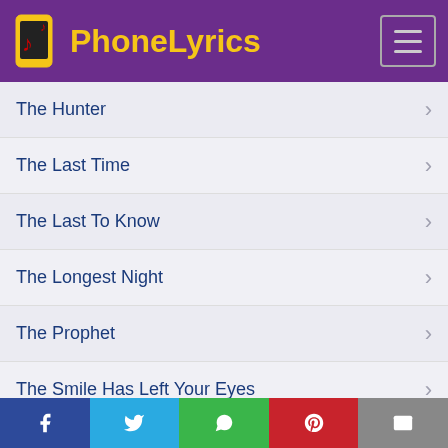PhoneLyrics
The Hunter
The Last Time
The Last To Know
The Longest Night
The Prophet
The Smile Has Left Your Eyes
There Was A Time
Through My Veins
Facebook | Twitter | WhatsApp | Pinterest | Email